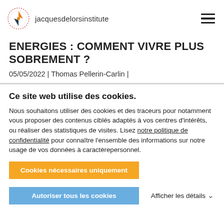jacquesdelorsinstitute
ENERGIES : COMMENT VIVRE PLUS SOBREMENT ?
05/05/2022 | Thomas Pellerin-Carlin |
Ce site web utilise des cookies.
Nous souhaitons utiliser des cookies et des traceurs pour notamment vous proposer des contenus ciblés adaptés à vos centres d'intérêts, ou réaliser des statistiques de visites. Lisez notre politique de confidentialité pour connaître l'ensemble des informations sur notre usage de vos données à caractèrepersonnel.
Cookies nécessaires uniquement
Autoriser tous les cookies
Afficher les détails